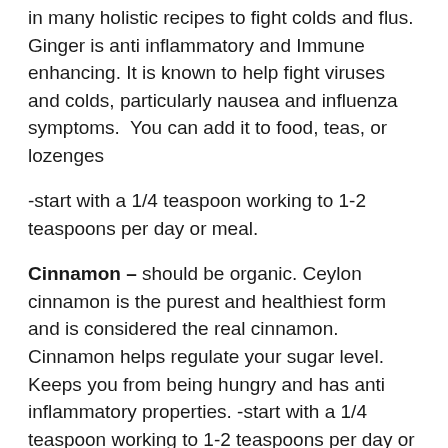in many holistic recipes to fight colds and flus. Ginger is anti inflammatory and Immune enhancing. It is known to help fight viruses and colds, particularly nausea and influenza symptoms.  You can add it to food, teas, or lozenges
-start with a 1/4 teaspoon working to 1-2 teaspoons per day or meal.
Cinnamon – should be organic. Ceylon cinnamon is the purest and healthiest form and is considered the real cinnamon. Cinnamon helps regulate your sugar level. Keeps you from being hungry and has anti inflammatory properties. -start with a 1/4 teaspoon working to 1-2 teaspoons per day or meal.
Garlic- same fresh local organic cut it or grate it yourself. If you buy powder it should be organic from brands you trust. Besides the taste, garlic has immune enhancing properties